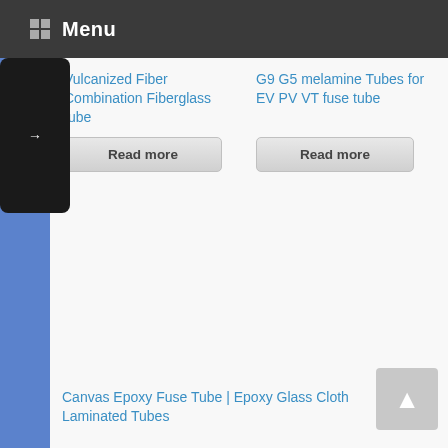Menu
Vulcanized Fiber Combination Fiberglass tube
Read more
G9 G5 melamine Tubes for EV PV VT fuse tube
Read more
Contact Us
Canvas Epoxy Fuse Tube | Epoxy Glass Cloth Laminated Tubes